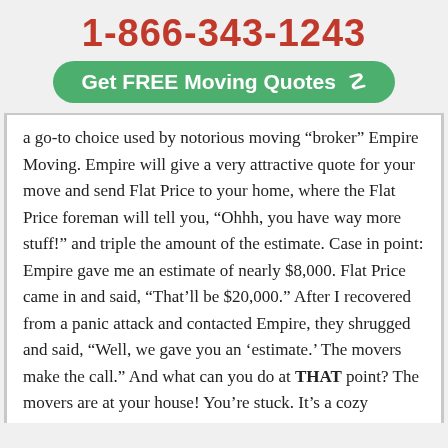1-866-343-1243
[Figure (other): Green rounded button with text 'Get FREE Moving Quotes' and a pointing finger icon]
a go-to choice used by notorious moving "broker" Empire Moving. Empire will give a very attractive quote for your move and send Flat Price to your home, where the Flat Price foreman will tell you, "Ohhh, you have way more stuff!" and triple the amount of the estimate. Case in point: Empire gave me an estimate of nearly $8,000. Flat Price came in and said, "That'll be $20,000." After I recovered from a panic attack and contacted Empire, they shrugged and said, "Well, we gave you an 'estimate.' The movers make the call." And what can you do at THAT point? The movers are at your house! You're stuck. It's a cozy arrangement that Empire and Flat Rate have. If it's looks like a scam and walks like a scam, it's a scam. 2.